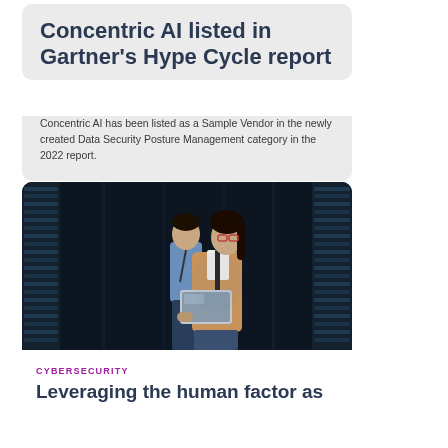Concentric AI listed in Gartner's Hype Cycle report
Concentric AI has been listed as a Sample Vendor in the newly created Data Security Posture Management category in the 2022 report.
[Figure (photo): Two IT professionals in a server room, a woman with glasses holding a laptop and a man standing behind her, both looking at the screen]
CYBERSECURITY
Leveraging the human factor as